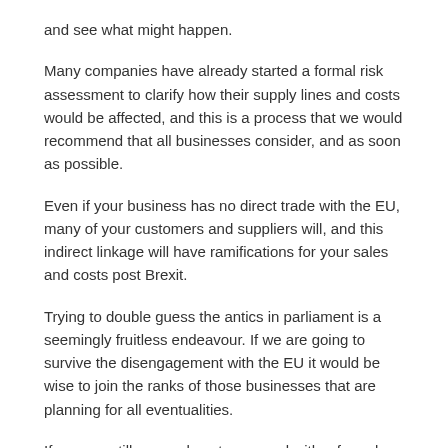and see what might happen.
Many companies have already started a formal risk assessment to clarify how their supply lines and costs would be affected, and this is a process that we would recommend that all businesses consider, and as soon as possible.
Even if your business has no direct trade with the EU, many of your customers and suppliers will, and this indirect linkage will have ramifications for your sales and costs post Brexit.
Trying to double guess the antics in parliament is a seemingly fruitless endeavour. If we are going to survive the disengagement with the EU it would be wise to join the ranks of those businesses that are planning for all eventualities.
If you are still unsure how to proceed with a formal review of your Brexit planning, please call, we can help you consider your options.
Uncategorised
July 3, 2019